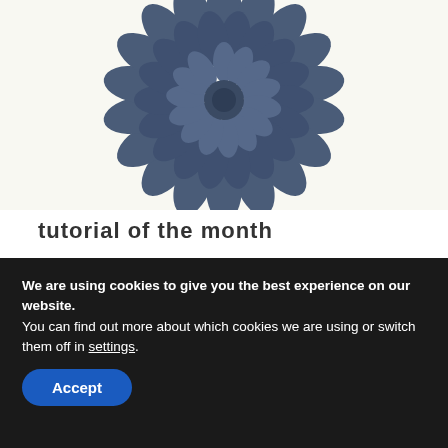[Figure (photo): Dark blue denim fabric flower/dahlia decoration, viewed from above, partially cropped at top of page, on a light cream/white background.]
tutorial of the month
VIRTUAL LIVE DEMONSTRATIONS
[Figure (photo): Partial view of a crafting image with teal/green scissors or craft tools on a light background, cropped at bottom of page.]
We are using cookies to give you the best experience on our website.
You can find out more about which cookies we are using or switch them off in settings.
Accept